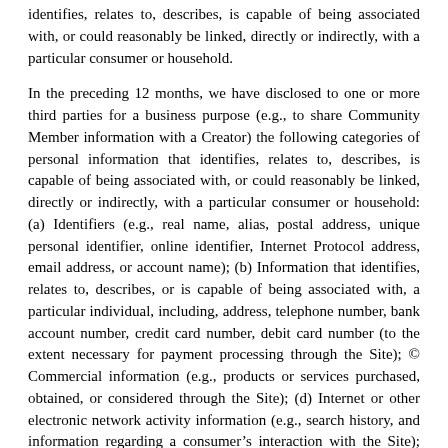identifies, relates to, describes, is capable of being associated with, or could reasonably be linked, directly or indirectly, with a particular consumer or household.
In the preceding 12 months, we have disclosed to one or more third parties for a business purpose (e.g., to share Community Member information with a Creator) the following categories of personal information that identifies, relates to, describes, is capable of being associated with, or could reasonably be linked, directly or indirectly, with a particular consumer or household: (a) Identifiers (e.g., real name, alias, postal address, unique personal identifier, online identifier, Internet Protocol address, email address, or account name); (b) Information that identifies, relates to, describes, or is capable of being associated with, a particular individual, including, address, telephone number, bank account number, credit card number, debit card number (to the extent necessary for payment processing through the Site); © Commercial information (e.g., products or services purchased, obtained, or considered through the Site); (d) Internet or other electronic network activity information (e.g., search history, and information regarding a consumer's interaction with the Site); and (e) Geolocation data such as city, state and country.